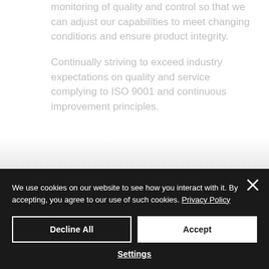monitoring of quality and control so that we can adjust our capabilities to meet changing conditions and ensure product integrity.
Continually striving to exceed industry expectations on quality and service complying to ISO 9001 and continuous improvement principles.
We use cookies on our website to see how you interact with it. By accepting, you agree to our use of such cookies. Privacy Policy
Decline All
Accept
Settings